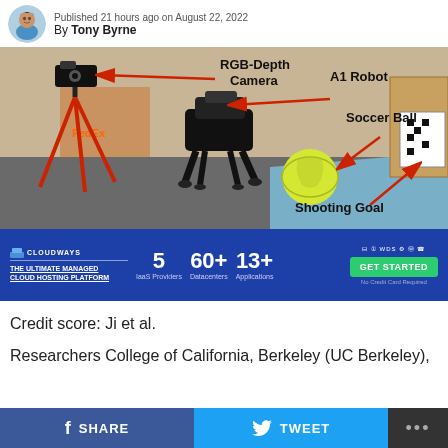Published 21 hours ago on August 22, 2022 By Tony Byrne
[Figure (photo): Lab photo showing a robot dog (A1 Robot) facing a yellow soccer ball, with a red-legged camera tripod (RGB-Depth Camera) on the left, and an ArUco marker board (Shooting Goal) on the right. Annotated with labels and red arrows.]
[Figure (infographic): Cloudways advertisement banner: blue background, logo top-left, tagline THE ULTIMATE MANAGED CLOUD HOSTING PLATFORM, stats 5 IaaS Providers, 60+ Datacenters, 13+ Applications, GET STARTED button in green, icons top-right.]
Credit score: Ji et al.
Researchers College of California, Berkeley (UC Berkeley),
SHARE   TWEET   ...